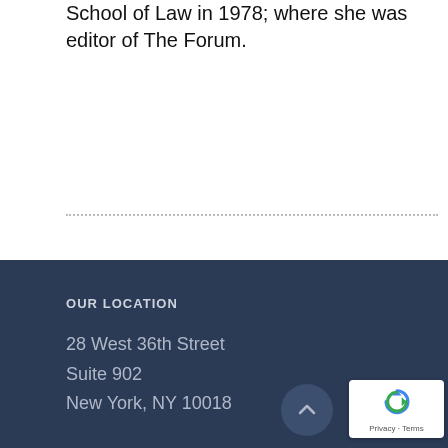School of Law in 1978; where she was editor of The Forum.
OUR LOCATION
28 West 36th Street
Suite 902
New York, NY 10018